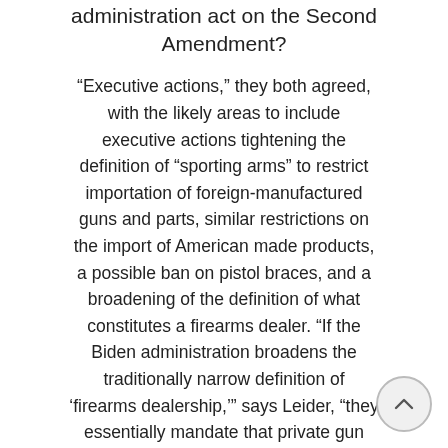administration act on the Second Amendment?
“Executive actions,” they both agreed, with the likely areas to include executive actions tightening the definition of “sporting arms” to restrict importation of foreign-manufactured guns and parts, similar restrictions on the import of American made products, a possible ban on pistol braces, and a broadening of the definition of what constitutes a firearms dealer. “If the Biden administration broadens the traditionally narrow definition of ‘firearms dealership,’” says Leider, “they essentially mandate that private gun transactions will require background checks.”